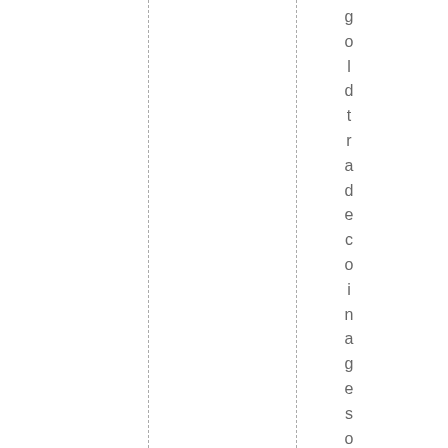goldtradecoinage soft hemintofF|